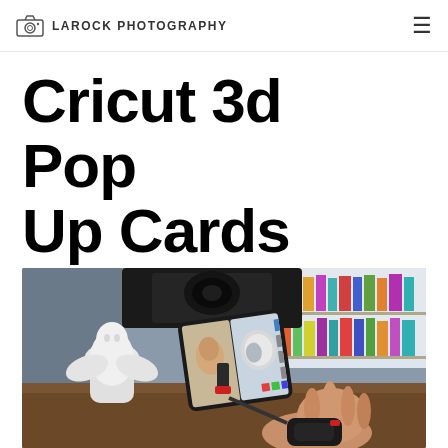LAROCK PHOTOGRAPHY
Cricut 3d Pop Up Cards
[Figure (photo): A person holding a handheld 3D scanner device pointed at a white angel figurine on a brown wooden desk. A smartphone mounted on the scanner shows the 3D scanning app in use, displaying the scan in progress. A bookshelf with colorful books and a camera are visible in the background.]